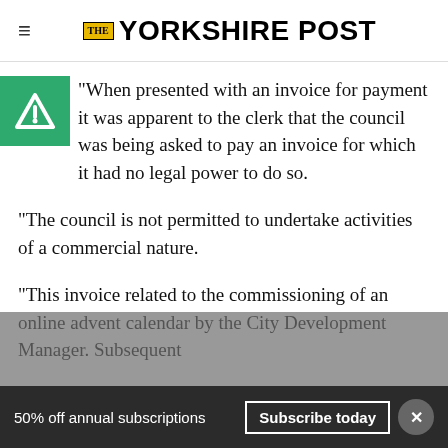THE YORKSHIRE POST
“When presented with an invoice for payment it was apparent to the clerk that the council was being asked to pay an invoice for which it had no legal power to do so.
“The council is not permitted to undertake activities of a commercial nature.
“This invoice related to the commissioning of an online advent calendar by the City Development Manager. Subsequent
50% off annual subscriptions   Subscribe today